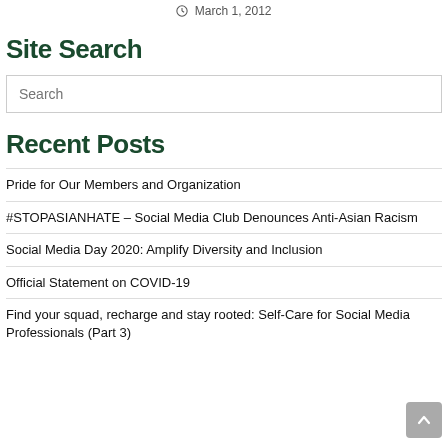March 1, 2012
Site Search
Search
Recent Posts
Pride for Our Members and Organization
#STOPASIANHATE – Social Media Club Denounces Anti-Asian Racism
Social Media Day 2020: Amplify Diversity and Inclusion
Official Statement on COVID-19
Find your squad, recharge and stay rooted: Self-Care for Social Media Professionals (Part 3)